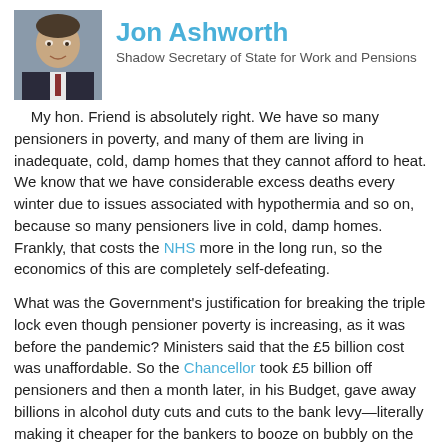[Figure (photo): Headshot photo of Jon Ashworth in a suit]
Jon Ashworth
Shadow Secretary of State for Work and Pensions
My hon. Friend is absolutely right. We have so many pensioners in poverty, and many of them are living in inadequate, cold, damp homes that they cannot afford to heat. We know that we have considerable excess deaths every winter due to issues associated with hypothermia and so on, because so many pensioners live in cold, damp homes. Frankly, that costs the NHS more in the long run, so the economics of this are completely self-defeating.
What was the Government’s justification for breaking the triple lock even though pensioner poverty is increasing, as it was before the pandemic? Ministers said that the £5 billion cost was unaffordable. So the Chancellor took £5 billion off pensioners and then a month later, in his Budget, gave away billions in alcohol duty cuts and cuts to the bank levy—literally making it cheaper for the bankers to booze on bubbly on the back of making pensioners poorer. It is a disgrace.
Let us be clear: the reason Ministers are not increasing the pension sufficiently is not that the Government lack the money, but that they lack the political will. That is why older people are now asking whether the Government will break their promise on the triple lock next year too. Last year, Ministers rejected the 8.3% rise and refused even to explore